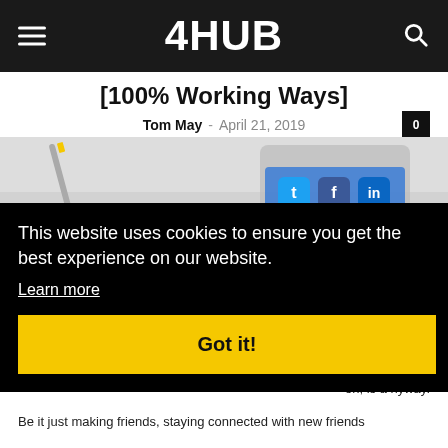4HUB
[100% Working Ways]
Tom May  -  April 21, 2019  0
[Figure (photo): Desk with tablet showing social media icons (Twitter, Facebook, etc.) on screen, light background]
This website uses cookies to ensure you get the best experience on our website.
Learn more
Got it!
on, is a nyway. Be it just making friends, staying connected with new friends